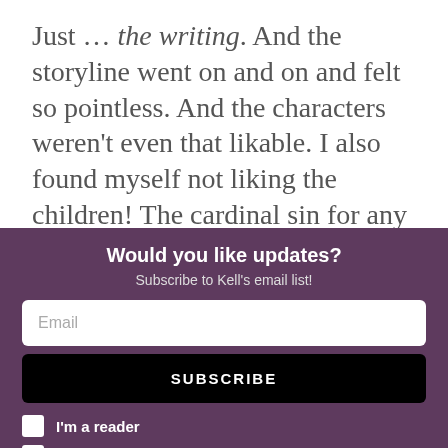Just … the writing. And the storyline went on and on and felt so pointless. And the characters weren't even that likable. I also found myself not liking the children! The cardinal sin for any author – I do so love children, and if they don't write them well, I'm instantly done.
But the writing. The writing was the main
Would you like updates?
Subscribe to Kell's email list!
Email
SUBSCRIBE
I'm a reader
I'm a writer
No thanks, I'm not interested